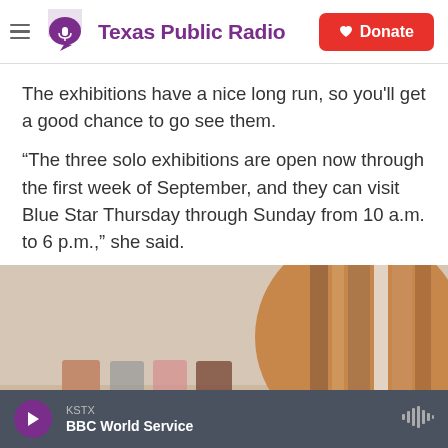Texas Public Radio | Donate
The exhibitions have a nice long run, so you’ll get a good chance to go see them.
“The three solo exhibitions are open now through the first week of September, and they can visit Blue Star Thursday through Sunday from 10 a.m. to 6 p.m.,” she said.
[Figure (photo): Art gallery interior showing wooden/ceramic tiles on a wall and a large circular striped wooden artwork on the right]
KSTX  BBC World Service